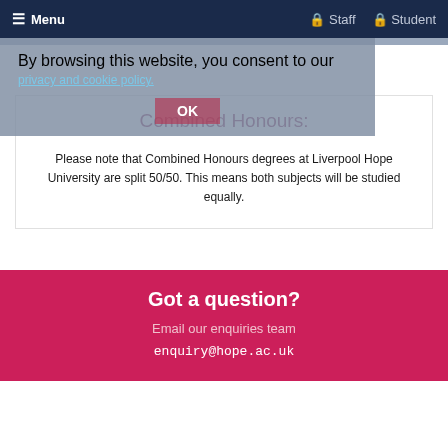≡ Menu   🔒 Staff   🔒 Student
By browsing this website, you consent to our privacy and cookie policy.
OK
Combined Honours:
Please note that Combined Honours degrees at Liverpool Hope University are split 50/50. This means both subjects will be studied equally.
Got a question?
Email our enquiries team
enquiry@hope.ac.uk